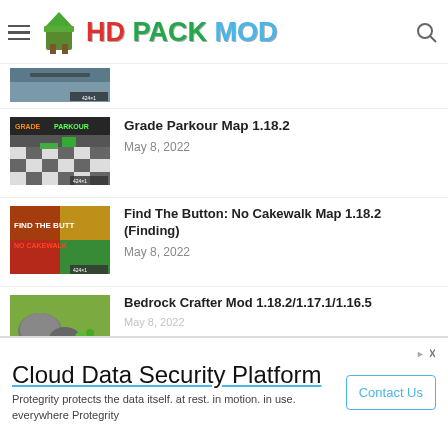HD Pack Mod
[Figure (screenshot): Partially visible thumbnail of a Minecraft-related content at top]
Grade Parkour Map 1.18.2
May 8, 2022
[Figure (screenshot): Grade Parkour thumbnail showing parkour map with checkered floor]
Find The Button: No Cakewalk Map 1.18.2 (Finding)
May 8, 2022
[Figure (screenshot): Find The Button No Cakewalk map thumbnail]
Bedrock Crafter Mod 1.18.2/1.17.1/1.16.5
[Figure (screenshot): Bedrock Crafter mod thumbnail partially visible]
Cloud Data Security Platform
Protegrity protects the data itself. at rest. in motion. in use. everywhere Protegrity
Contact Us